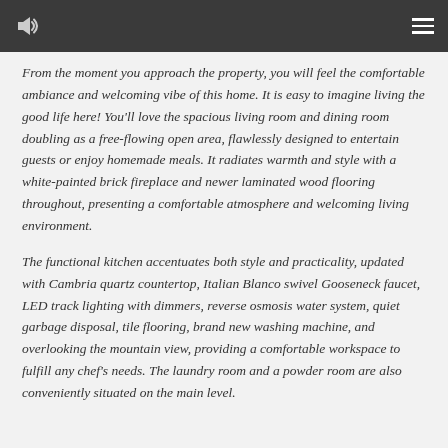[speaker icon] [menu icon]
From the moment you approach the property, you will feel the comfortable ambiance and welcoming vibe of this home. It is easy to imagine living the good life here! You'll love the spacious living room and dining room doubling as a free-flowing open area, flawlessly designed to entertain guests or enjoy homemade meals. It radiates warmth and style with a white-painted brick fireplace and newer laminated wood flooring throughout, presenting a comfortable atmosphere and welcoming living environment.
The functional kitchen accentuates both style and practicality, updated with Cambria quartz countertop, Italian Blanco swivel Gooseneck faucet, LED track lighting with dimmers, reverse osmosis water system, quiet garbage disposal, tile flooring, brand new washing machine, and overlooking the mountain view, providing a comfortable workspace to fulfill any chef's needs. The laundry room and a powder room are also conveniently situated on the main level.